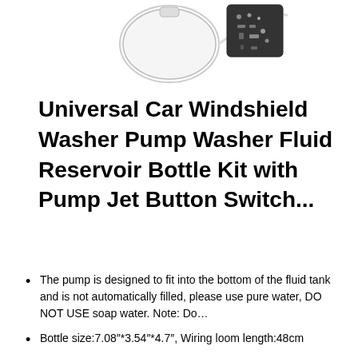[Figure (photo): Product photo of a Universal Car Windshield Washer Pump kit, showing a white circular reservoir bottle, hoses, and a bag of hardware/accessories against a white background.]
Universal Car Windshield Washer Pump Washer Fluid Reservoir Bottle Kit with Pump Jet Button Switch...
The pump is designed to fit into the bottom of the fluid tank and is not automatically filled, please use pure water, DO NOT USE soap water. Note: Do…
Bottle size:7.08″*3.54″*4.7″, Wiring loom length:48cm